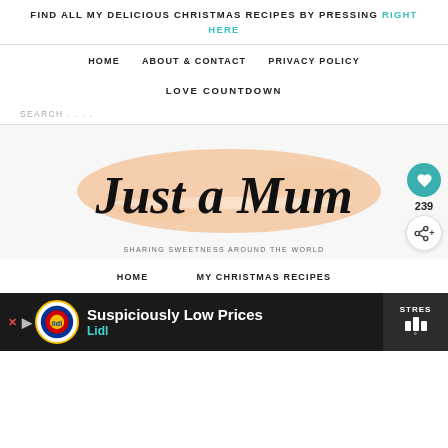FIND ALL MY DELICIOUS CHRISTMAS RECIPES BY PRESSING RIGHT HERE
HOME   ABOUT & CONTACT   PRIVACY POLICY
LOVE COUNTDOWN
SEARCH . . . .
[Figure (logo): Just A Mum blog logo — script font on a peach/salmon brushstroke background, tagline: SHARING SWEETNESS AROUND THE WORLD]
HOME   MY CHRISTMAS RECIPES
[Figure (infographic): Advertisement banner: Lidl — Suspiciously Low Prices]